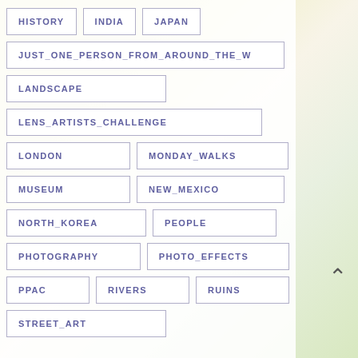HISTORY
INDIA
JAPAN
JUST_ONE_PERSON_FROM_AROUND_THE_W
LANDSCAPE
LENS_ARTISTS_CHALLENGE
LONDON
MONDAY_WALKS
MUSEUM
NEW_MEXICO
NORTH_KOREA
PEOPLE
PHOTOGRAPHY
PHOTO_EFFECTS
PPAC
RIVERS
RUINS
STREET_ART